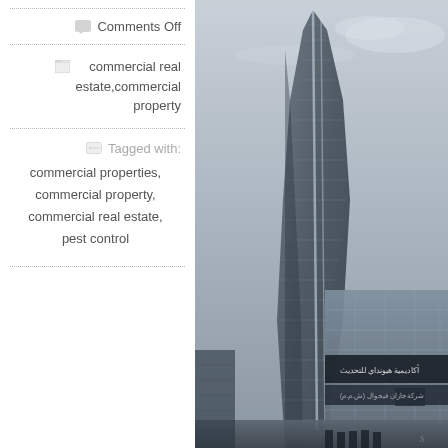Comments Off
commercial real estate,commercial property
Tagged with: commercial properties, commercial property, commercial real estate, pest control
[Figure (photo): Black and white photograph of a tall modern glass skyscraper with a curved tapered profile, viewed from street level. In the foreground is a lower commercial building with Arabic signage (appears to be a Hyundai dealership). The scene is in an urban Middle Eastern city, likely Kuwait or Saudi Arabia.]